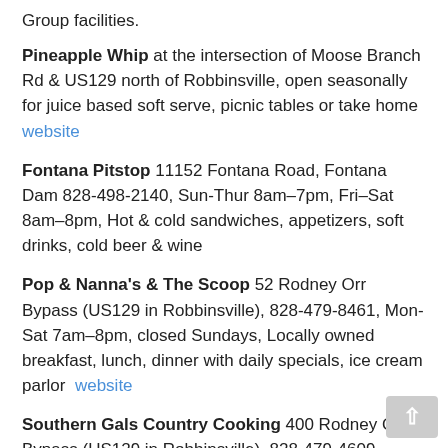Group facilities.
Pineapple Whip at the intersection of Moose Branch Rd & US129 north of Robbinsville, open seasonally for juice based soft serve, picnic tables or take home website
Fontana Pitstop 11152 Fontana Road, Fontana Dam 828-498-2140, Sun-Thur 8am–7pm, Fri–Sat 8am–8pm, Hot & cold sandwiches, appetizers, soft drinks, cold beer & wine
Pop & Nanna's & The Scoop 52 Rodney Orr Bypass (US129 in Robbinsville), 828-479-8461, Mon-Sat 7am–8pm, closed Sundays, Locally owned breakfast, lunch, dinner with daily specials, ice cream parlor website
Southern Gals Country Cooking 400 Rodney Orr Bypass (US129 in Robbinsville), 828-479-4609, Mon-Sat 7am–8pm... (continues)